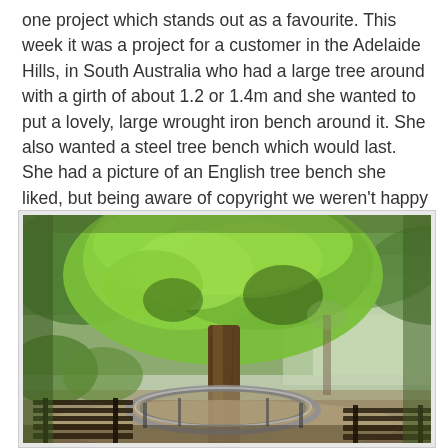one project which stands out as a favourite. This week it was a project for a customer in the Adelaide Hills, in South Australia who had a large tree around with a girth of about 1.2 or 1.4m and she wanted to put a lovely, large wrought iron bench around it. She also wanted a steel tree bench which would last. She had a picture of an English tree bench she liked, but being aware of copyright we weren't happy about copying someone else's work.
[Figure (photo): Photograph of a large tree with lush green foliage, with a circular wrought iron/steel bench wrapped around its trunk, and additional wooden bench seating visible in the foreground. Background shows greenery and garden scenery.]